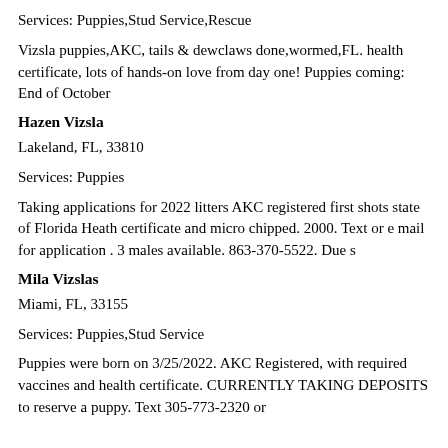Services: Puppies,Stud Service,Rescue
Vizsla puppies,AKC, tails & dewclaws done,wormed,FL. health certificate, lots of hands-on love from day one! Puppies coming: End of October
Hazen Vizsla
Lakeland, FL, 33810
Services: Puppies
Taking applications for 2022 litters AKC registered first shots state of Florida Heath certificate and micro chipped. 2000. Text or e mail for application . 3 males available. 863-370-5522. Due s
Mila Vizslas
Miami, FL, 33155
Services: Puppies,Stud Service
Puppies were born on 3/25/2022. AKC Registered, with required vaccines and health certificate. CURRENTLY TAKING DEPOSITS to reserve a puppy. Text 305-773-2320 or